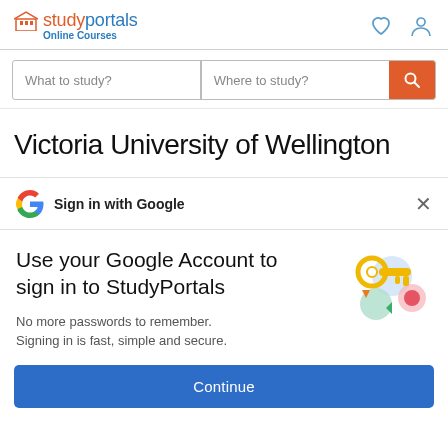[Figure (logo): StudyPortals Online Courses logo with building icon in orange/blue]
[Figure (other): Header icons: heart (favorites) and user/profile outline icons]
What to study? | Where to study?
Victoria University of Wellington
Sign in with Google
Use your Google Account to sign in to StudyPortals
No more passwords to remember. Signing in is fast, simple and secure.
[Figure (illustration): Colorful key with circles and arrows illustration representing Google sign-in security]
Continue